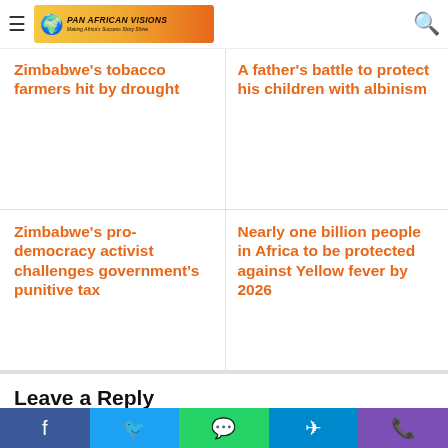Pan African Visions – Making Africa's Success Story Shine
Zimbabwe's tobacco farmers hit by drought
A father's battle to protect his children with albinism
Zimbabwe's pro-democracy activist challenges government's punitive tax
Nearly one billion people in Africa to be protected against Yellow fever by 2026
Leave a Reply
Your email address will not be published. Required fields are marked *